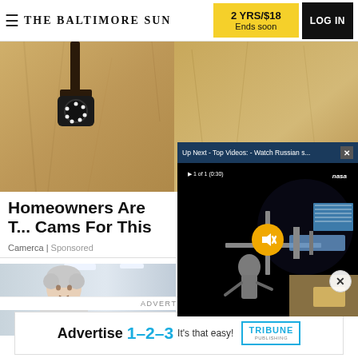THE BALTIMORE SUN
2 YRS/$18
Ends soon
LOG IN
[Figure (photo): Security camera mounted on cracked wall (left) and sandy textured wall (right), main article image]
[Figure (screenshot): Video overlay popup titled 'Up Next - Top Videos: - Watch Russian s...' showing NASA footage of space station with astronaut, with mute button and close X button]
Homeowners Are T... Cams For This
Camerca | Sponsored
[Figure (photo): Older man with grey hair in a medical/office hallway]
ADVERTISEMENT
[Figure (infographic): Tribune Publishing advertisement banner: 'Advertise 1-2-3 It's that easy!']